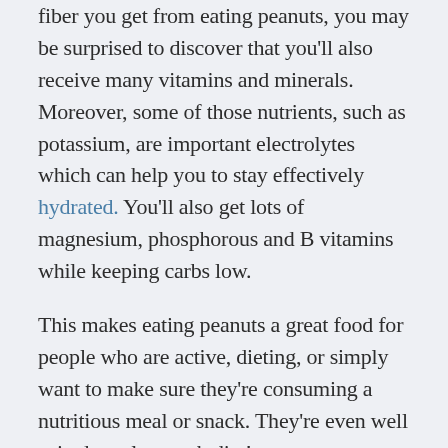fiber you get from eating peanuts, you may be surprised to discover that you'll also receive many vitamins and minerals. Moreover, some of those nutrients, such as potassium, are important electrolytes which can help you to stay effectively hydrated. You'll also get lots of magnesium, phosphorous and B vitamins while keeping carbs low.
This makes eating peanuts a great food for people who are active, dieting, or simply want to make sure they're consuming a nutritious meal or snack. They're even well suited to a low-carb diet!
As you can see, just because they're high in calories, it doesn't mean that you shouldn't be eating peanuts. This is particularly true when eating raw peanuts as opposed to roasted or salted. When you consume b...